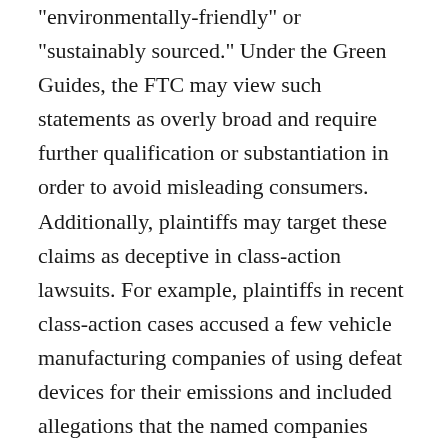“environmentally-friendly” or “sustainably sourced.” Under the Green Guides, the FTC may view such statements as overly broad and require further qualification or substantiation in order to avoid misleading consumers. Additionally, plaintiffs may target these claims as deceptive in class-action lawsuits. For example, plaintiffs in recent class-action cases accused a few vehicle manufacturing companies of using defeat devices for their emissions and included allegations that the named companies deceptively advertised their vehicles as “clean” and “environmentally friendly.” While many of the suits were dismissed due to failure to adequately allege an injury, the example allegations still show the potential for liability based